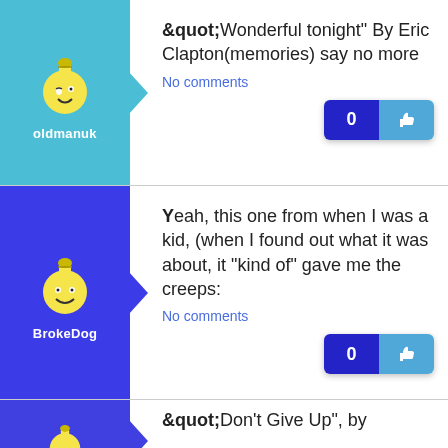[Figure (screenshot): User post from oldmanuk with teal background and smiley avatar, post text: &quot;Wonderful tonight" By Eric Clapton(memories) say no more, No comments, like button showing 0]
[Figure (screenshot): User post from BrokeDog with blue background and smiley avatar, post text: Yeah, this one from when I was a kid, (when I found out what it was about, it "kind of" gave me the creeps:, No comments, like button showing 0]
[Figure (screenshot): Partial user post with blue background, post text beginning: &quot;Don't Give Up", by]